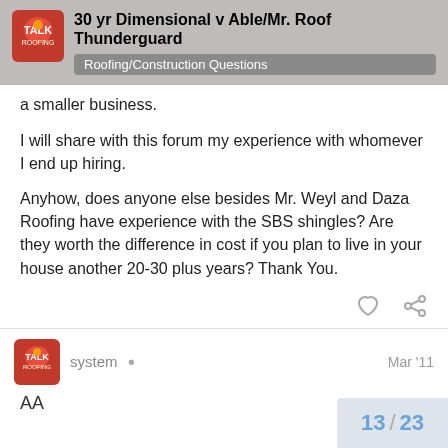30 yr Dimensional v Able/Mr. Roof Thunderguard | Roofing/Construction Questions
a smaller business.
I will share with this forum my experience with whomever I end up hiring.
Anyhow, does anyone else besides Mr. Weyl and Daza Roofing have experience with the SBS shingles? Are they worth the difference in cost if you plan to live in your house another 20-30 plus years? Thank You.
system  Mar '11
AA
13 / 23